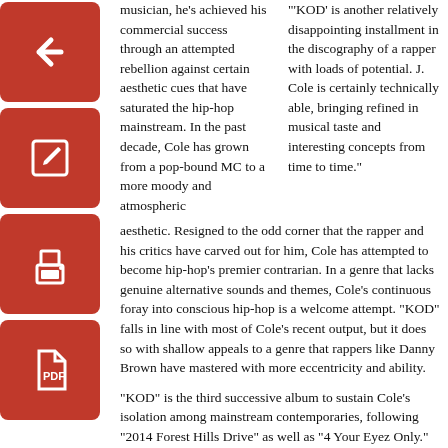[Figure (other): Four red square icon buttons stacked vertically on the left side: back arrow, edit/pencil, print, and PDF file icons]
musician, he’s achieved his commercial success through an attempted rebellion against certain aesthetic cues that have saturated the hip-hop mainstream. In the past decade, Cole has grown from a pop-bound MC to a more moody and atmospheric aesthetic. Resigned to the odd corner that the rapper and his critics have carved out for him, Cole has attempted to become hip-hop’s premier contrarian. In a genre that lacks genuine alternative sounds and themes, Cole’s continuous foray into conscious hip-hop is a welcome attempt. “KOD” falls in line with most of Cole’s recent output, but it does so with shallow appeals to a genre that rappers like Danny Brown have mastered with more eccentricity and ability.
‘KOD’ is another relatively disappointing installment in the discography of a rapper with loads of potential. J. Cole is certainly technically able, bringing refined in musical taste and interesting concepts from time to time.”
“KOD” is the third successive album to sustain Cole’s isolation among mainstream contemporaries, following “2014 Forest Hills Drive” as well as “4 Your Eyez Only.” On the title track, he’s spoofing hip-hop whose commentary is limited to substance and addiction braggadocio. He advances his contempt further with “1985,” a generic diss track designed to address new wave detractors, such as Lil Pump, who could not sound any cooler or any more dangerous than J. Cole could ever imagine himself to be. Cole doesn’t resist many of the contemporary trends he